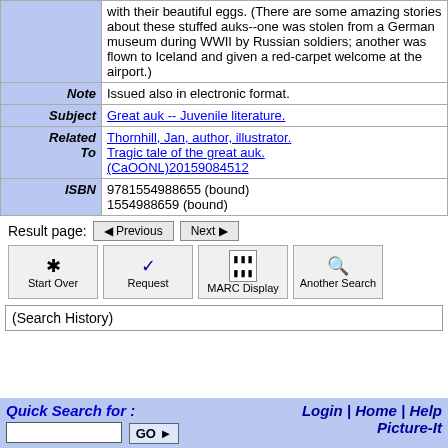|  | with their beautiful eggs. (There are some amazing stories about these stuffed auks--one was stolen from a German museum during WWII by Russian soldiers; another was flown to Iceland and given a red-carpet welcome at the airport.) |
| Note | Issued also in electronic format. |
| Subject | Great auk -- Juvenile literature. |
| Related To | Thornhill, Jan, author, illustrator. Tragic tale of the great auk. (CaOONL)20159084512 |
| ISBN | 9781554988655 (bound)
1554988659 (bound) |
Result page:
[Figure (screenshot): Navigation buttons: Previous, Next, Start Over, Request, MARC Display, Another Search]
(Search History)
Quick Search for : [input] GO | Login | Home | Help | Picture-It